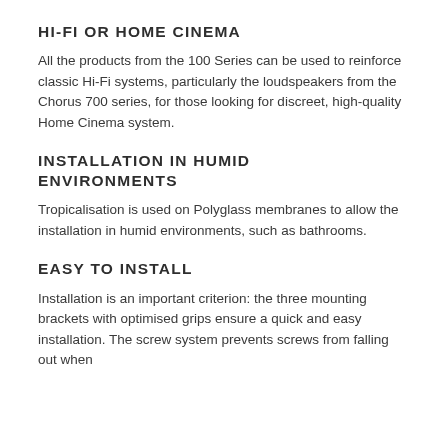HI-FI OR HOME CINEMA
All the products from the 100 Series can be used to reinforce classic Hi-Fi systems, particularly the loudspeakers from the Chorus 700 series, for those looking for discreet, high-quality Home Cinema system.
INSTALLATION IN HUMID ENVIRONMENTS
Tropicalisation is used on Polyglass membranes to allow the installation in humid environments, such as bathrooms.
EASY TO INSTALL
Installation is an important criterion: the three mounting brackets with optimised grips ensure a quick and easy installation. The screw system prevents screws from falling out when